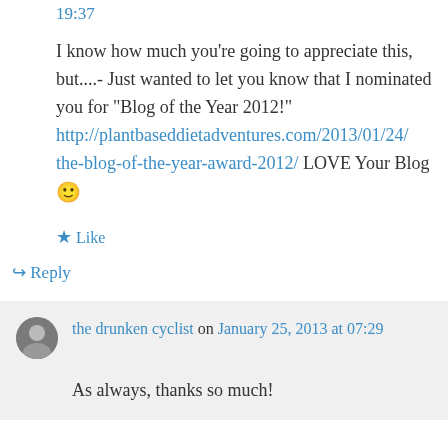19:37
I know how much you're going to appreciate this, but....- Just wanted to let you know that I nominated you for "Blog of the Year 2012!" http://plantbaseddietadventures.com/2013/01/24/the-blog-of-the-year-award-2012/ LOVE Your Blog 🙂
★ Like
↪ Reply
the drunken cyclist on January 25, 2013 at 07:29
As always, thanks so much!